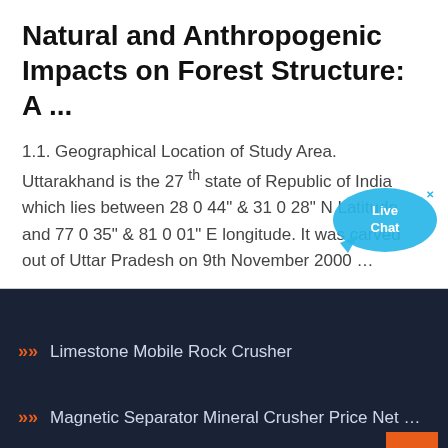Natural and Anthropogenic Impacts on Forest Structure: A ...
1.1. Geographical Location of Study Area. Uttarakhand is the 27 th state of Republic of India which lies between 28 0 44" & 31 0 28" N Latitude and 77 0 35" & 81 0 01" E longitude. It was carved out of Uttar Pradesh on 9th November 2000 …
Limestone Mobile Rock Crusher
Magnetic Separator Mineral Crusher Price Net Rock Crushing J…
Gabon 300 Tph Sand Crusher